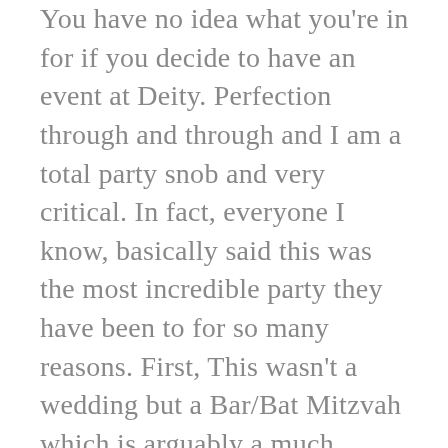You have no idea what you're in for if you decide to have an event at Deity. Perfection through and through and I am a total party snob and very critical. In fact, everyone I know, basically said this was the most incredible party they have been to for so many reasons. First, This wasn't a wedding but a Bar/Bat Mitzvah which is arguably a much harder event to pull off. The older people/parents are just not into what the kids are into. They want to talk with great food and good acoustics and excellent cocktails. Deity made all of this happen ten fold. BUT they also want to party